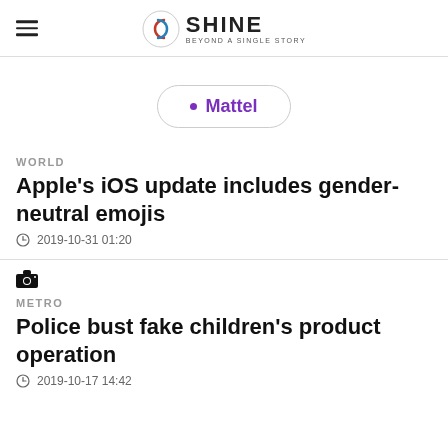SHINE BEYOND A SINGLE STORY
Mattel
WORLD
Apple's iOS update includes gender-neutral emojis
2019-10-31 01:20
METRO
Police bust fake children's product operation
2019-10-17 14:42